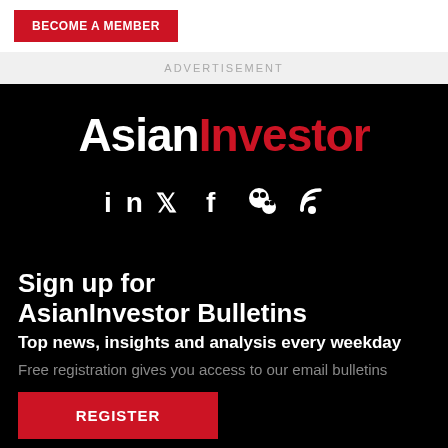BECOME A MEMBER
ADVERTISEMENT
[Figure (logo): AsianInvestor logo in white and red on black background, with social media icons below (LinkedIn, Twitter, Facebook, WeChat, RSS)]
Sign up for AsianInvestor Bulletins
Top news, insights and analysis every weekday
Free registration gives you access to our email bulletins
REGISTER